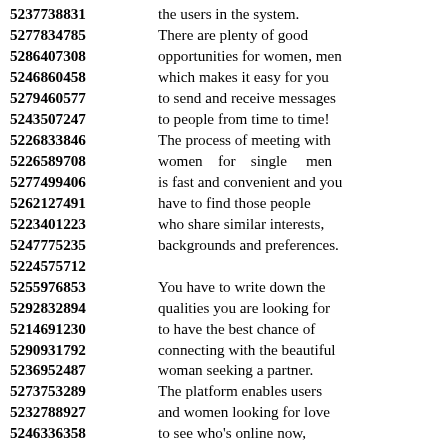5237738831 the users in the system.
5277834785 There are plenty of good
5286407308 opportunities for women, men
5246860458 which makes it easy for you
5279460577 to send and receive messages
5243507247 to people from time to time!
5226833846 The process of meeting with
5226589708 women for single men
5277499406 is fast and convenient and you
5262127491 have to find those people
5223401223 who share similar interests,
5247775235 backgrounds and preferences.
5224575712
5255976853 You have to write down the
5292832894 qualities you are looking for
5214691230 to have the best chance of
5290931792 connecting with the beautiful
5236952487 woman seeking a partner.
5273753289 The platform enables users
5232788927 and women looking for love
5246336358 to see who's online now,
5229751213 on the page at the moment
5298932588 and you can send pictures,
5255722259 send messages and more.
5285573610 Forget all your worries